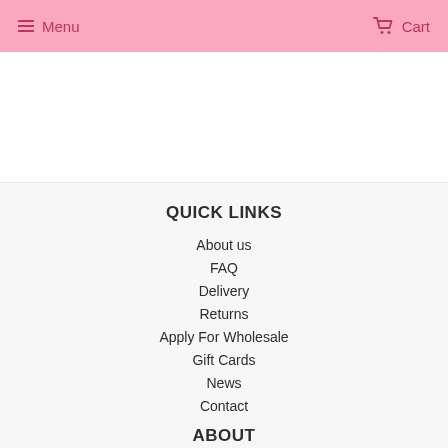Menu  Cart
QUICK LINKS
About us
FAQ
Delivery
Returns
Apply For Wholesale
Gift Cards
News
Contact
ABOUT